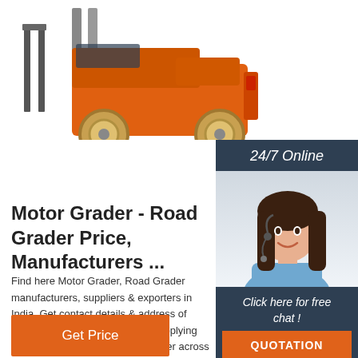[Figure (photo): Orange forklift truck with yellow wheels photographed from the side/rear, showing forks at left and large rear wheels, white background]
[Figure (photo): Customer service chat widget: dark navy background with '24/7 Online' header, photo of smiling woman with headset, 'Click here for free chat!' text, and orange QUOTATION button]
Motor Grader - Road Grader Price, Manufacturers ...
Find here Motor Grader, Road Grader manufacturers, suppliers & exporters in India. Get contact details & address of companies manufacturing and supplying Motor Grader, Road Grader, Grader across India.
Get Price